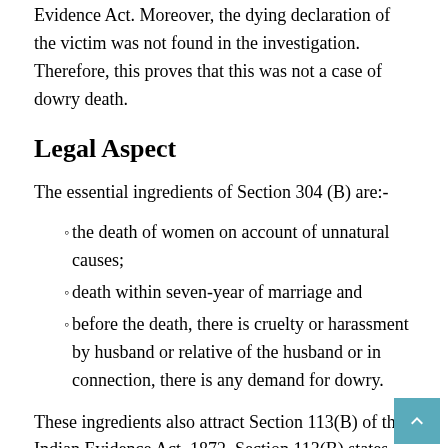Evidence Act. Moreover, the dying declaration of the victim was not found in the investigation. Therefore, this proves that this was not a case of dowry death.
Legal Aspect
The essential ingredients of Section 304 (B) are:-
the death of women on account of unnatural causes;
death within seven-year of marriage and
before the death, there is cruelty or harassment by husband or relative of the husband or in connection, there is any demand for dowry.
These ingredients also attract Section 113(B) of the Indian Evidence Act, 1872. Section 113(B) states that there is a presumption that death is dowry death.